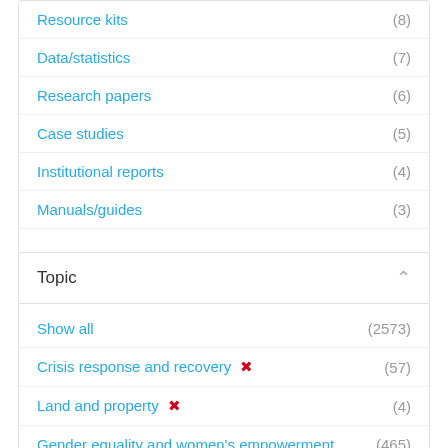Resource kits (8)
Data/statistics (7)
Research papers (6)
Case studies (5)
Institutional reports (4)
Manuals/guides (3)
Show more
Topic
Show all (2573)
Crisis response and recovery ✕ (57)
Land and property ✕ (4)
Gender equality and women's empowerment (465)
Ending violence against women and girls (313)
Economic empowerment (254)
Human rights (132)
COVID-19 (124)